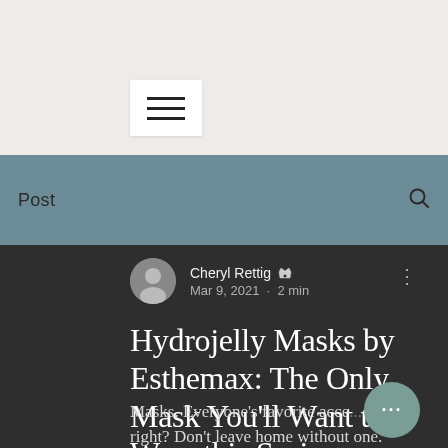[Figure (screenshot): Navigation hamburger menu icon — three horizontal lines on a white square background]
Post
Cheryl Rettig 👑  Admin
Mar 9, 2021 · 2 min
Hydrojelly Masks by Esthemax: The Only Mask You'll Want to Wear this Spring
Masks. Everyone's favorite acce... right? Don't leave home without one.